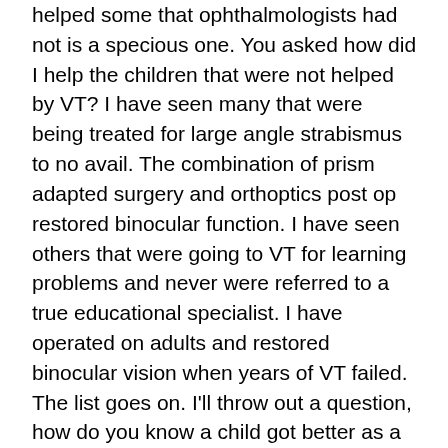helped some that ophthalmologists had not is a specious one. You asked how did I help the children that were not helped by VT? I have seen many that were being treated for large angle strabismus to no avail. The combination of prism adapted surgery and orthoptics post op restored binocular function. I have seen others that were going to VT for learning problems and never were referred to a true educational specialist. I have operated on adults and restored binocular vision when years of VT failed. The list goes on. I'll throw out a question, how do you know a child got better as a result of your intervention? Even in the CITT study there was no matched placebo group with true home intervention and placebo office therapy. In fact one could look at the success rates of home